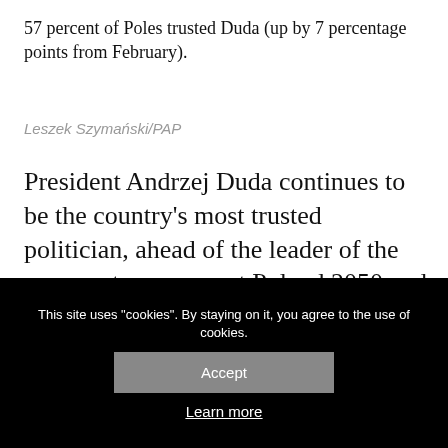57 percent of Poles trusted Duda (up by 7 percentage points from February).
Leszek Szymański/PAP
President Andrzej Duda continues to be the country's most trusted politician, ahead of the leader of the grassroots movement Poland 2050 and the prime minister, a new poll has found.
In early March, 57 percent of Poles trusted Duda (up by 7 percentage points from February), while at the same time 30 percent of Poles distrusted...
This site uses "cookies". By staying on it, you agree to the use of cookies.
Accept
Learn more